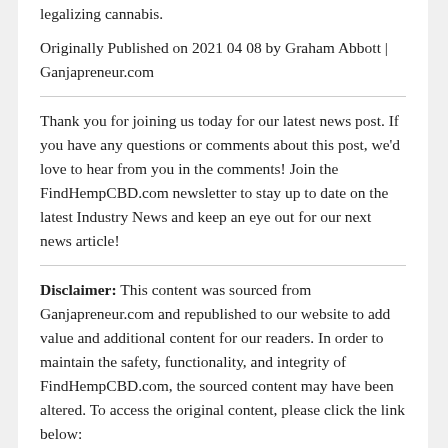legalizing cannabis.
Originally Published on 2021 04 08 by Graham Abbott | Ganjapreneur.com
Thank you for joining us today for our latest news post. If you have any questions or comments about this post, we'd love to hear from you in the comments! Join the FindHempCBD.com newsletter to stay up to date on the latest Industry News and keep an eye out for our next news article!
Disclaimer: This content was sourced from Ganjapreneur.com and republished to our website to add value and additional content for our readers. In order to maintain the safety, functionality, and integrity of FindHempCBD.com, the sourced content may have been altered. To access the original content, please click the link below:
https://www.ganjapreneur.com/virginia-